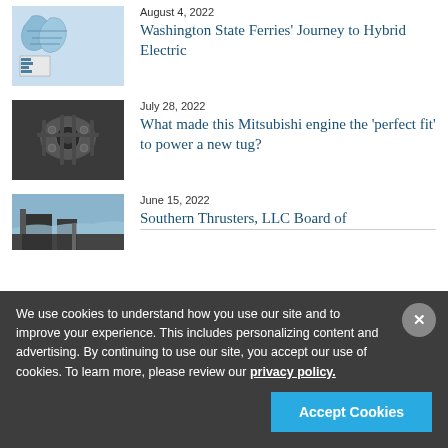[Figure (map): Map thumbnail of Washington State ferry routes]
August 4, 2022
Washington State Ferries' Journey to Hybrid Electric
[Figure (photo): Black and white photo of a Mitsubishi engine]
July 28, 2022
What made this Mitsubishi engine the 'perfect fit' to power a new tug?
[Figure (photo): Photo of industrial facility with sky]
June 15, 2022
Southern Thrusters, LLC Board of
We use cookies to understand how you use our site and to improve your experience. This includes personalizing content and advertising. By continuing to use our site, you accept our use of cookies. To learn more, please review our privacy policy.
Accept Cookies